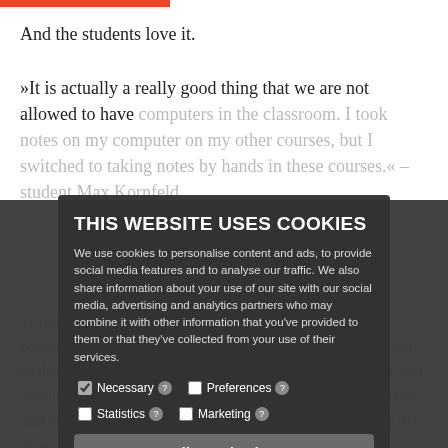And the students love it.
»It is actually a really good thing that we are not allowed to have computers in the classroom. I took notes on my computer on my other courses, but I switched to taking notes by hands in these courses.« – student Max Kornfeld
»I remember the central points a lot better. I think it is because it is easier to also place things when I've been able to draw and write arrows on a piece of paper instead of just writing off from the board. Everyone is also more focused and concentrated when we do not have screens in front of us.«
THIS WEBSITE USES COOKIES
We use cookies to personalise content and ads, to provide social media features and to analyse our traffic. We also share information about your use of our site with our social media, advertising and analytics partners who may combine it with other information that you've provided to them or that they've collected from your use of their services.
Necessary ? | Preferences ? | Statistics ? | Marketing ?
Allow selection
Allow all cookies